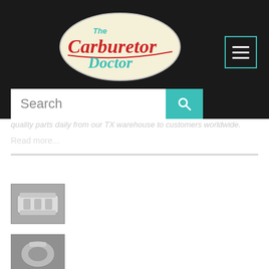[Figure (logo): The Carburetor Doctor logo — oval cream background with red and teal script text]
quality parts daily from our TX warehouse to customers worldwide.
Read more...
BLOG
[Figure (photo): Thumbnail photo of an AFB carburetor]
CORRECT SIZE AFB FOR CHEVY 350
[Figure (photo): Thumbnail photo of a Rochester Model B carburetor]
ROCHESTER MODEL B HISTORY AND ID